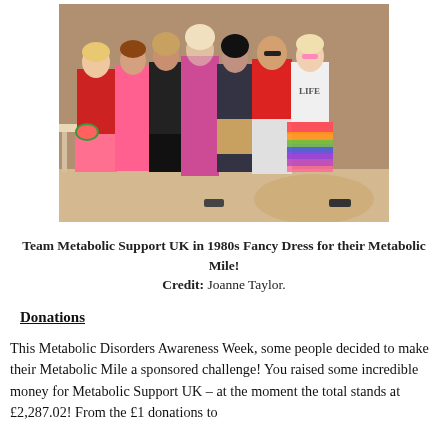[Figure (photo): Group photo of Team Metabolic Support UK members dressed in 1980s fancy dress costumes, posing together indoors. People wearing colorful outfits including pink, red, leopard print, rainbow tutu, and sunglasses.]
Team Metabolic Support UK in 1980s Fancy Dress for their Metabolic Mile! Credit: Joanne Taylor.
Donations
This Metabolic Disorders Awareness Week, some people decided to make their Metabolic Mile a sponsored challenge! You raised some incredible money for Metabolic Support UK – at the moment the total stands at £2,287.02! From the £1 donations to